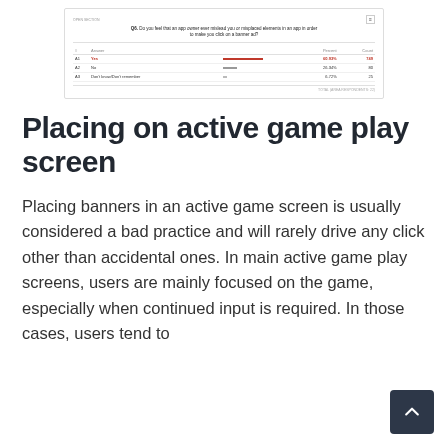[Figure (screenshot): Screenshot of a survey question Q6: 'Do you feel that an app owner ever mislead you or misplaced elements in an app in order to make you click on a banner ad?' with answers: A1 Yes 60.93% 749, A2 No 26.34% 80, A3 Don't know/Don't remember 6.72% 25]
Placing on active game play screen
Placing banners in an active game screen is usually considered a bad practice and will rarely drive any click other than accidental ones. In main active game play screens, users are mainly focused on the game, especially when continued input is required. In those cases, users tend to